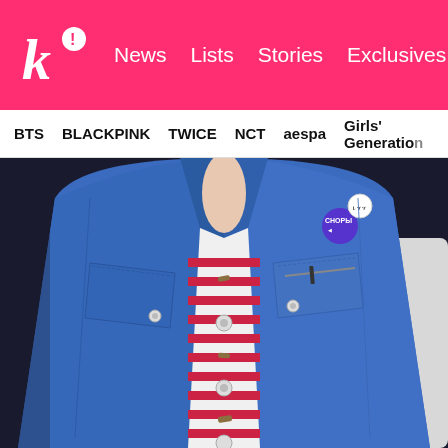k! News Lists Stories Exclusives
BTS BLACKPINK TWICE NCT aespa Girls' Generation
[Figure (photo): Close-up photograph of person wearing a blue denim jacket open over a red and white striped shirt, with pins/badges on the left lapel including a purple circular pin reading 'СНОРЫ' and a smaller white pin. A pen is visible in the chest pocket zipper area.]